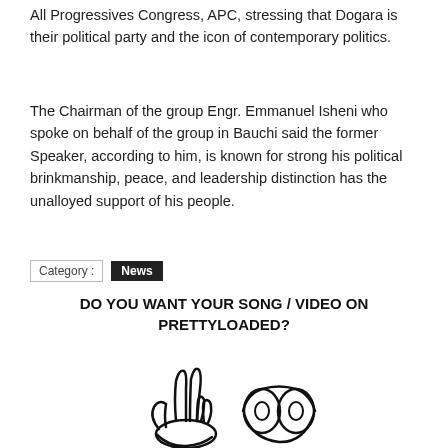All Progressives Congress, APC, stressing that Dogara is their political party and the icon of contemporary politics.
The Chairman of the group Engr. Emmanuel Isheni who spoke on behalf of the group in Bauchi said the former Speaker, according to him, is known for strong his political brinkmanship, peace, and leadership distinction has the unalloyed support of his people.
Category : News
[Figure (illustration): Promotional banner for Prettyloaded music upload service. Shows cartoon hand gestures (peace sign and finger guns) with text 'DO YOU WANT YOUR SONG / VIDEO ON PRETTYLOADED?' and a red 'UPLOAD NOW' button with green text.]